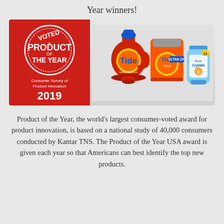Year winners!
[Figure (photo): Photo of Tide laundry products (liquid detergent, pods, and Purex Crystals) next to a red 'Voted Product of the Year 2019 – Consumer Survey of Product Innovation' badge.]
Product of the Year, the world's largest consumer-voted award for product innovation, is based on a national study of 40,000 consumers conducted by Kantar TNS. The Product of the Year USA award is given each year so that Americans can best identify the top new products.